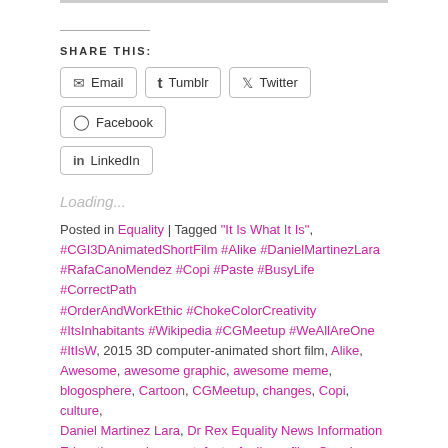SHARE THIS:
Email  Tumblr  Twitter  Facebook  LinkedIn
Loading...
Posted in Equality | Tagged "It Is What It Is", #CGI3DAnimatedShortFilm #Alike #DanielMartinezLara #RafaCanoMendez #Copi #Paste #BusyLife #CorrectPath #OrderAndWorkEthic #ChokeColorCreativity #ItsInhabitants #Wikipedia #CGMeetup #WeAllAreOne #ItIsW, 2015 3D computer-animated short film, Alike, Awesome, awesome graphic, awesome meme, blogosphere, Cartoon, CGMeetup, changes, Copi, culture, Daniel Martinez Lara, Dr Rex Equality News Information Education, environment, facts, feelings, film, Google, Google images, Grace, graphic, GRAPHIC SOURCE, Graphics, happy, home, Horty, Horty Rexach, HortyRex ©, Humanity, ideas, Illustration, illustrator, Inspiration, interactions, LGBT, communities, LGBT, community,